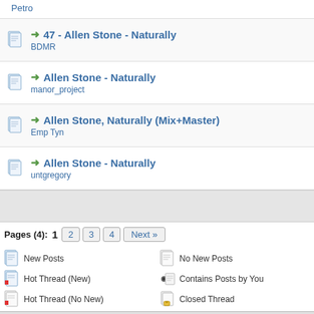Petro
47 - Allen Stone - Naturally
BDMR
Allen Stone - Naturally
manor_project
Allen Stone, Naturally (Mix+Master)
Emp Tyn
Allen Stone - Naturally
untgregory
Pages (4): 1  2  3  4  Next »
New Posts   No New Posts   Hot Thread (New)   Contains Posts by You   Hot Thread (No New)   Closed Thread
Forum Team   Contact Us   Cambridge Music Technology   Return to Top   Lite
Powered By MyBB, © 2002-2022 MyBB Group.